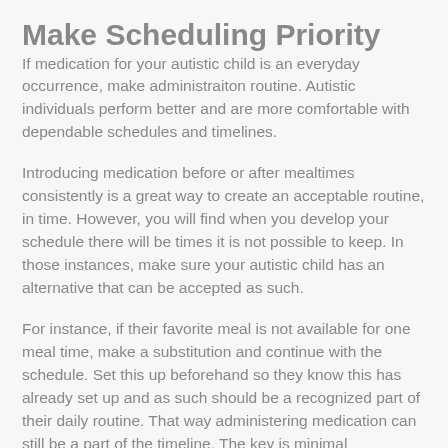Make Scheduling Priority
If medication for your autistic child is an everyday occurrence, make administraiton routine. Autistic individuals perform better and are more comfortable with dependable schedules and timelines.
Introducing medication before or after mealtimes consistently is a great way to create an acceptable routine, in time. However, you will find when you develop your schedule there will be times it is not possible to keep. In those instances, make sure your autistic child has an alternative that can be accepted as such.
For instance, if their favorite meal is not available for one meal time, make a substitution and continue with the schedule. Set this up beforehand so they know this has already set up and as such should be a recognized part of their daily routine. That way administering medication can still be a part of the timeline. The key is minimal